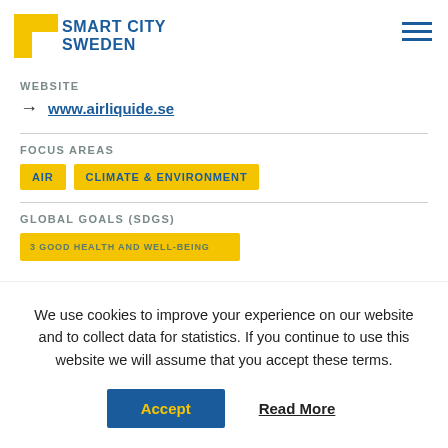[Figure (logo): Smart City Sweden logo with yellow L-shaped icon and blue bold text reading SMART CITY SWEDEN]
WEBSITE
→ www.airliquide.se
FOCUS AREAS
AIR
CLIMATE & ENVIRONMENT
GLOBAL GOALS (SDGS)
We use cookies to improve your experience on our website and to collect data for statistics. If you continue to use this website we will assume that you accept these terms.
Accept   Read More